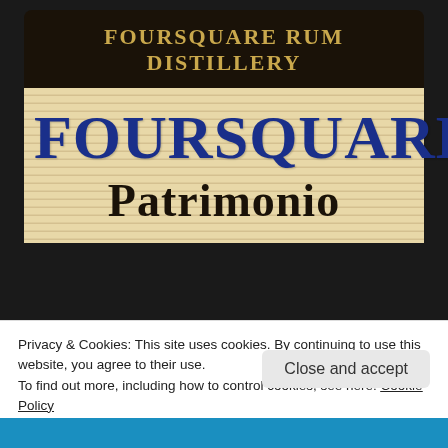[Figure (photo): Close-up photograph of a Foursquare Rum Distillery barrel label showing 'FOURSQUARE RUM DISTILLERY' in gold text on dark background at top, 'FOURSQUARE' in large blue serif text, and 'Patrimonio' in large black serif text on a cream/beige horizontally-lined label background.]
Privacy & Cookies: This site uses cookies. By continuing to use this website, you agree to their use.
To find out more, including how to control cookies, see here: Cookie Policy
Close and accept